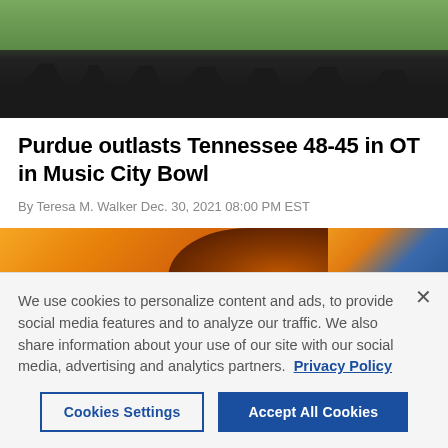[Figure (photo): Top portion of a photo showing people standing on a dark elevated platform or stage, with a green sports field visible in the background above them.]
Purdue outlasts Tennessee 48-45 in OT in Music City Bowl
By Teresa M. Walker Dec. 30, 2021 08:00 PM EST
[Figure (photo): Partial photo showing a person wearing an orange and black Nike cap and headset, with orange and blue blurred background suggesting a stadium setting.]
We use cookies to personalize content and ads, to provide social media features and to analyze our traffic. We also share information about your use of our site with our social media, advertising and analytics partners. Privacy Policy
Cookies Settings | Accept All Cookies